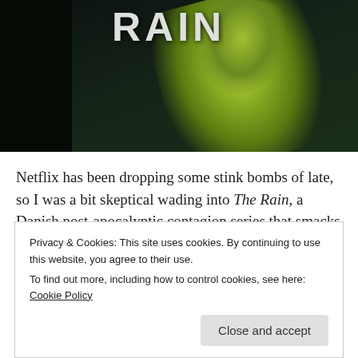[Figure (photo): Movie poster image for 'The Rain' showing the title text 'RAIN' in large letters at the top, with a figure in a green/yellow hazmat suit or fabric against a dark background]
Netflix has been dropping some stink bombs of late, so I was a bit skeptical wading into The Rain, a Danish post-apocalyptic contagion series that smacks of 28 Days Later and The Walking Dead—sans zombies. Actually, the reason I was truly skeptical was because of its 6.1 score on IMDb. For non-IMDb adherents, it's probably worth mentioning that the best
Privacy & Cookies: This site uses cookies. By continuing to use this website, you agree to their use.
To find out more, including how to control cookies, see here: Cookie Policy
Close and accept